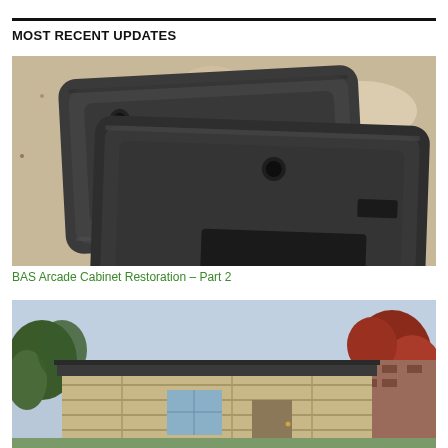MOST RECENT UPDATES
[Figure (photo): Two dark grey/black plastic arcade cabinet panels (back sides) resting on a granite countertop. The panels have recessed areas, cutouts, and mounting holes visible on their surfaces.]
BAS Arcade Cabinet Restoration – Part 2
[Figure (photo): Exterior photo of a small building or shed structure with light wood/log construction and a flat dark roof, set among trees including red-leafed foliage, with a brick building visible in the background.]